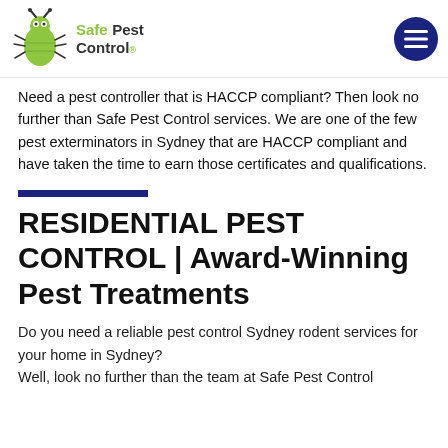Safe Pest Control
Need a pest controller that is HACCP compliant? Then look no further than Safe Pest Control services. We are one of the few pest exterminators in Sydney that are HACCP compliant and have taken the time to earn those certificates and qualifications.
RESIDENTIAL PEST CONTROL | Award-Winning Pest Treatments
Do you need a reliable pest control Sydney rodent services for your home in Sydney?
Well, look no further than the team at Safe Pest Control